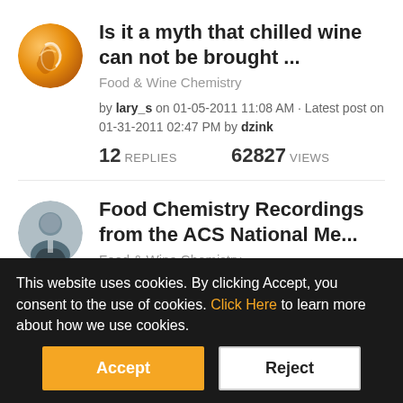[Figure (illustration): Circular avatar with orange wine-related graphic]
Is it a myth that chilled wine can not be brought ...
Food & Wine Chemistry
by lary_s on 01-05-2011 11:08 AM • Latest post on 01-31-2011 02:47 PM by dzink
12 REPLIES   62827 VIEWS
[Figure (photo): Circular avatar showing a man in a suit]
Food Chemistry Recordings from the ACS National Me...
Food & Wine Chemistry
This website uses cookies. By clicking Accept, you consent to the use of cookies. Click Here to learn more about how we use cookies.